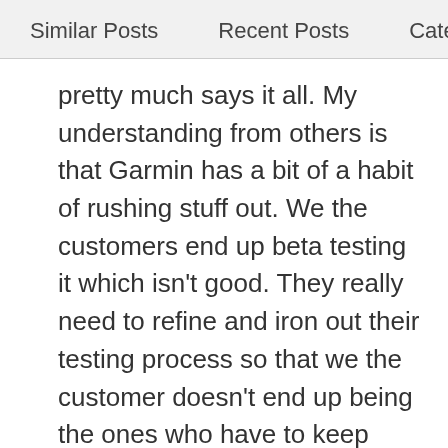Similar Posts    Recent Posts    Categori
pretty much says it all. My understanding from others is that Garmin has a bit of a habit of rushing stuff out. We the customers end up beta testing it which isn't good. They really need to refine and iron out their testing process so that we the customer doesn't end up being the ones who have to keep reporting the bugs. That's the biggest problem Garmin has. By comparison, it doesn't appear that Wahoo and